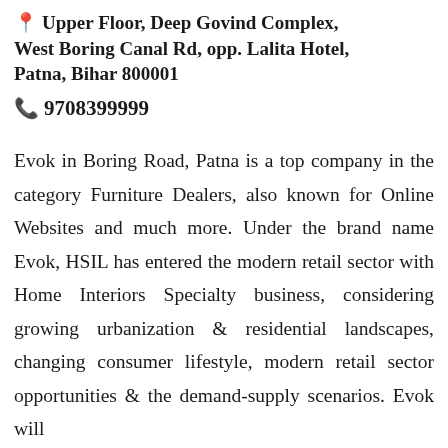Upper Floor, Deep Govind Complex, West Boring Canal Rd, opp. Lalita Hotel, Patna, Bihar 800001
9708399999
Evok in Boring Road, Patna is a top company in the category Furniture Dealers, also known for Online Websites and much more. Under the brand name Evok, HSIL has entered the modern retail sector with Home Interiors Specialty business, considering growing urbanization & residential landscapes, changing consumer lifestyle, modern retail sector opportunities & the demand-supply scenarios. Evok will